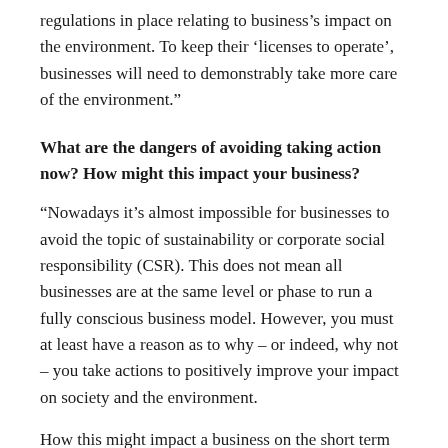regulations in place relating to business’s impact on the environment. To keep their ‘licenses to operate’, businesses will need to demonstrably take more care of the environment.”
What are the dangers of avoiding taking action now? How might this impact your business?
“Nowadays it’s almost impossible for businesses to avoid the topic of sustainability or corporate social responsibility (CSR). This does not mean all businesses are at the same level or phase to run a fully conscious business model. However, you must at least have a reason as to why – or indeed, why not – you take actions to positively improve your impact on society and the environment.
How this might impact a business on the short term greatly depends on the type of industry you are operating in and products and/or services you are offering. But in the